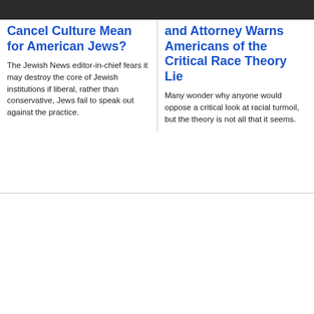Cancel Culture Mean for American Jews?
The Jewish News editor-in-chief fears it may destroy the core of Jewish institutions if liberal, rather than conservative, Jews fail to speak out against the practice.
and Attorney Warns Americans of the Critical Race Theory Lie
Many wonder why anyone would oppose a critical look at racial turmoil, but the theory is not all that it seems.